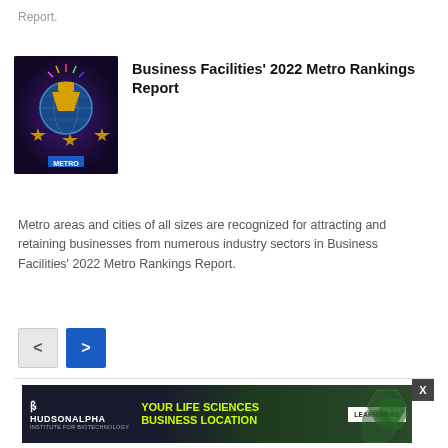Report.
[Figure (illustration): Business Facilities 2022 Metro Rankings Report logo with trophies and stars on dark background]
Business Facilities' 2022 Metro Rankings Report
Metro areas and cities of all sizes are recognized for attracting and retaining businesses from numerous industry sectors in Business Facilities' 2022 Metro Rankings Report.
[Figure (other): Navigation buttons: left arrow (grey) and right arrow (blue)]
[Figure (other): HudsonAlpha Institute for Biotechnology advertisement: YOUR LIFE SCIENCES BUSINESS LOCATION - LEARN MORE]